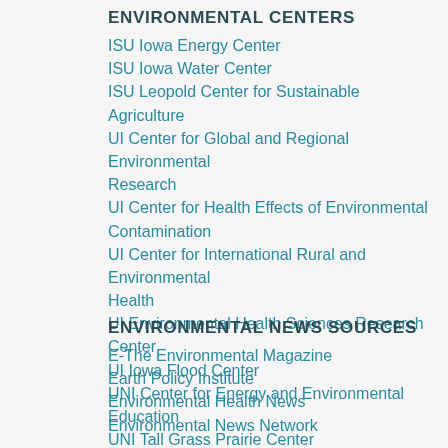ENVIRONMENTAL CENTERS
ISU Iowa Energy Center
ISU Iowa Water Center
ISU Leopold Center for Sustainable Agriculture
UI Center for Global and Regional Environmental Research
UI Center for Health Effects of Environmental Contamination
UI Center for International Rural and Environmental Health
UI Environmental Health Sciences Research Center
UI Iowa Flood Center
UNI Center for Energy and Environmental Education
UNI Tall Grass Prairie Center
ENVIRONMENTAL NEWS SOURCES
E-The Environmental Magazine
Earth Policy Institute
Environmental Health News
Environmental News Network